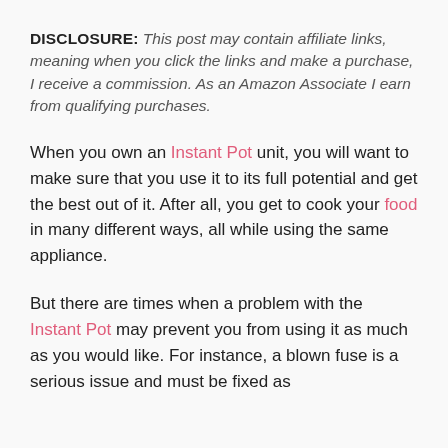DISCLOSURE: This post may contain affiliate links, meaning when you click the links and make a purchase, I receive a commission. As an Amazon Associate I earn from qualifying purchases.
When you own an Instant Pot unit, you will want to make sure that you use it to its full potential and get the best out of it. After all, you get to cook your food in many different ways, all while using the same appliance.
But there are times when a problem with the Instant Pot may prevent you from using it as much as you would like. For instance, a blown fuse is a serious issue and must be fixed as